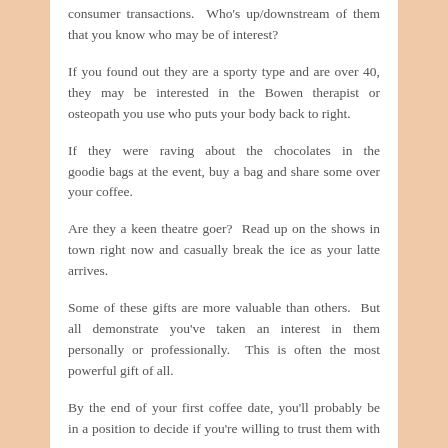consumer transactions.  Who's up/downstream of them that you know who may be of interest?
If you found out they are a sporty type and are over 40, they may be interested in the Bowen therapist or osteopath you use who puts your body back to right.
If they were raving about the chocolates in the goodie bags at the event, buy a bag and share some over your coffee.
Are they a keen theatre goer?  Read up on the shows in town right now and casually break the ice as your latte arrives.
Some of these gifts are more valuable than others.  But all demonstrate you've taken an interest in them personally or professionally.  This is often the most powerful gift of all.
By the end of your first coffee date, you'll probably be in a position to decide if you're willing to trust them with a name.